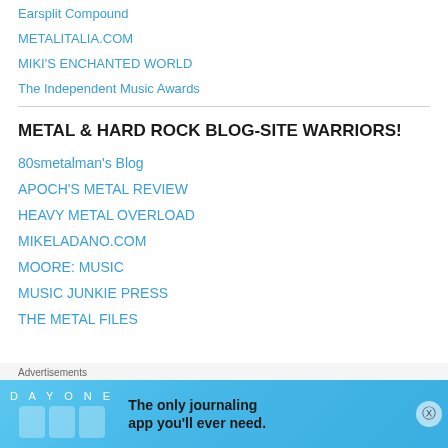Earsplit Compound
METALITALIA.COM
MIKI'S ENCHANTED WORLD
The Independent Music Awards
METAL & HARD ROCK BLOG-SITE WARRIORS!
80smetalman's Blog
APOCH'S METAL REVIEW
HEAVY METAL OVERLOAD
MIKELADANO.COM
MOORE: MUSIC
MUSIC JUNKIE PRESS
THE METAL FILES
Advertisements
[Figure (other): Day One journaling app advertisement banner with blue background, app icons, and text 'The only journaling app you'll ever need.']